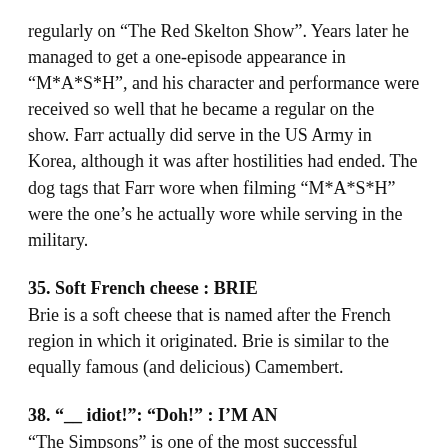regularly on “The Red Skelton Show”. Years later he managed to get a one-episode appearance in “M*A*S*H”, and his character and performance were received so well that he became a regular on the show. Farr actually did serve in the US Army in Korea, although it was after hostilities had ended. The dog tags that Farr wore when filming “M*A*S*H” were the one’s he actually wore while serving in the military.
35. Soft French cheese : BRIE
Brie is a soft cheese that is named after the French region in which it originated. Brie is similar to the equally famous (and delicious) Camembert.
38. “__ idiot!”: “Doh!” : I’M AN
“The Simpsons” is one of the most successful programs produced by the Fox Broadcasting Company. Homer Simpson’s catchphrase is “D’oh!”, which became such a famous exclamation that it has been included in the